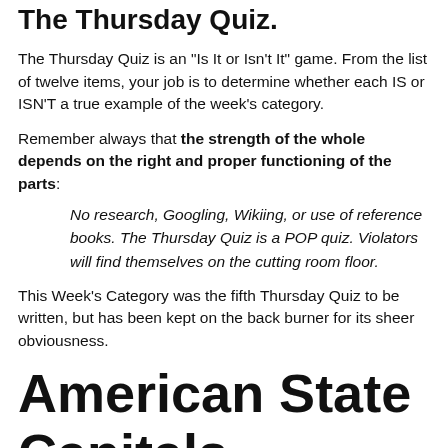The Thursday Quiz.
The Thursday Quiz is an "Is It or Isn't It" game. From the list of twelve items, your job is to determine whether each IS or ISN'T a true example of the week's category.
Remember always that the strength of the whole depends on the right and proper functioning of the parts:
No research, Googling, Wikiing, or use of reference books. The Thursday Quiz is a POP quiz. Violators will find themselves on the cutting room floor.
This Week's Category was the fifth Thursday Quiz to be written, but has been kept on the back burner for its sheer obviousness.
American State Capitals